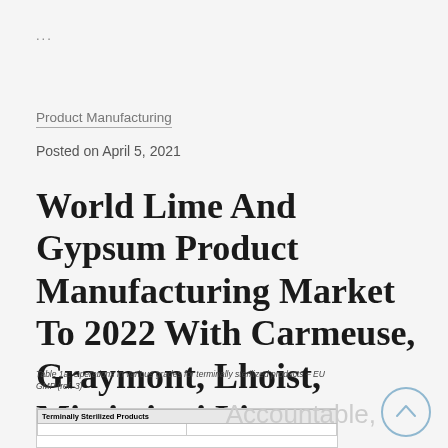...
Product Manufacturing
Posted on April 5, 2021
World Lime And Gypsum Product Manufacturing Market To 2022 With Carmeuse, Graymont, Lhoist, Mississippi Lime,
Table 1a: Operations in various grades for terminally sterilized products – EU GMP (ref. 3)
| Terminally Sterilized Products |
| --- |
Accountable,